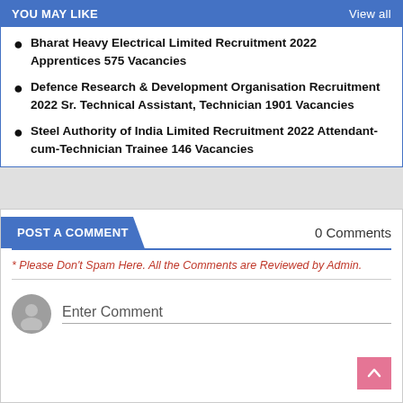YOU MAY LIKE
Bharat Heavy Electrical Limited Recruitment 2022 Apprentices 575 Vacancies
Defence Research & Development Organisation Recruitment 2022 Sr. Technical Assistant, Technician 1901 Vacancies
Steel Authority of India Limited Recruitment 2022 Attendant-cum-Technician Trainee 146 Vacancies
POST A COMMENT
0 Comments
* Please Don't Spam Here. All the Comments are Reviewed by Admin.
Enter Comment